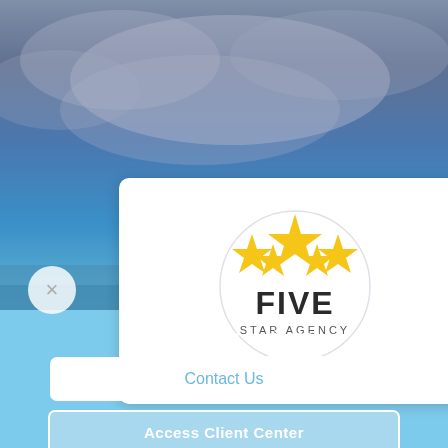[Figure (photo): Dramatic sky with blue and grey clouds background, with ocean/lake visible at bottom]
[Figure (logo): Five Star Agency logo: circle with 5 yellow stars (center star larger), text FIVE in bold dark letters, STAR AGENCY below in smaller caps]
Our Clients Rave About Us
We're open for business!
Contact Us
Access Client Center